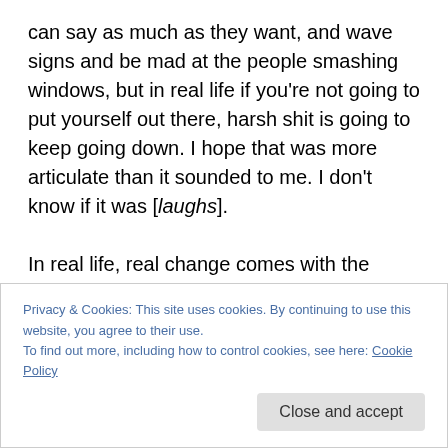can say as much as they want, and wave signs and be mad at the people smashing windows, but in real life if you're not going to put yourself out there, harsh shit is going to keep going down. I hope that was more articulate than it sounded to me. I don't know if it was [laughs].

In real life, real change comes with the numbers of the people protesting and with a parallel resistance that is more physically active. It needs to all be there. I do not want to watch Democrats go out and be soft as fuck like they typically are and get steamrolled into all the worst
Privacy & Cookies: This site uses cookies. By continuing to use this website, you agree to their use.
To find out more, including how to control cookies, see here: Cookie Policy